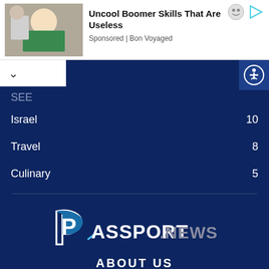[Figure (screenshot): Advertisement banner with image of elderly person sewing, title 'Uncool Boomer Skills That Are Useless', sponsored by Bon Voyaged, with ad icons top right]
SEE
Israel  10
Travel  8
Culinary  5
[Figure (logo): Passport News logo - white and gray text on dark blue background with passport-style P icon and arrow]
ABOUT US